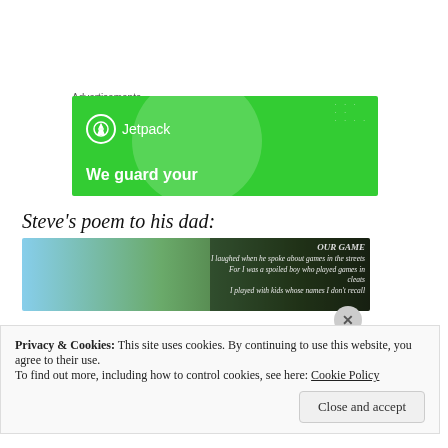Advertisements
[Figure (photo): Jetpack advertisement banner on green background with white logo and text 'We guard your']
Steve's poem to his dad:
[Figure (photo): Coastal landscape photo with poem overlay text: 'OUR GAME / I laughed when he spoke about games in the streets / For I was a spoiled boy who played games in cleats / I played with kids whose names I don't recall']
Privacy & Cookies: This site uses cookies. By continuing to use this website, you agree to their use. To find out more, including how to control cookies, see here: Cookie Policy
Close and accept